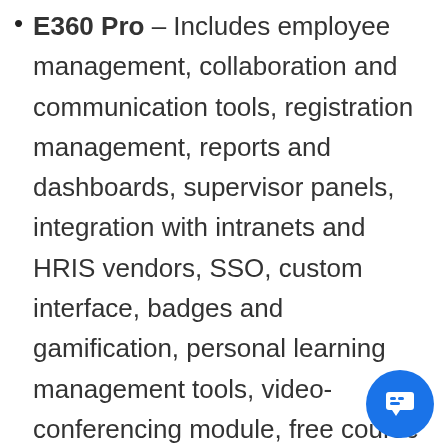E360 Pro – Includes employee management, collaboration and communication tools, registration management, reports and dashboards, supervisor panels, integration with intranets and HRIS vendors, SSO, custom interface, badges and gamification, personal learning management tools, video-conferencing module, free course migration, and more.